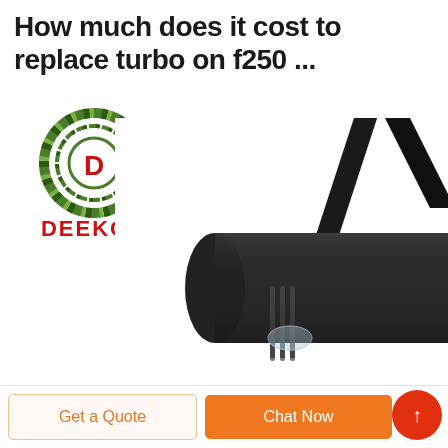How much does it cost to replace turbo on f250 ...
[Figure (logo): DEEKON brand logo: circular target/crosshair icon in camouflage green with a red D in the center, and the word DEEKON in bold red letters below]
[Figure (photo): Close-up photo of a black cylindrical turbo component (turbo charger or intake pipe) with ribbed sections and a strap, on white background]
Get a Quote
Chat Now